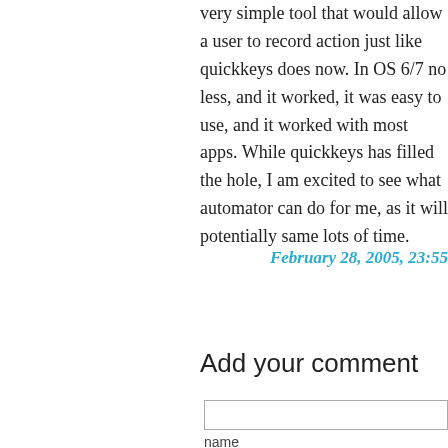very simple tool that would allow a user to record action just like quickkeys does now. In OS 6/7 no less, and it worked, it was easy to use, and it worked with most apps. While quickkeys has filled the hole, I am excited to see what automator can do for me, as it will potentially same lots of time.
February 28, 2005, 23:55
Add your comment
name